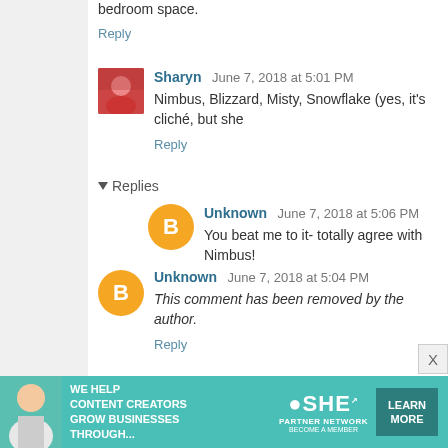bedroom space.
Reply
Sharyn  June 7, 2018 at 5:01 PM
Nimbus, Blizzard, Misty, Snowflake (yes, it's cliché, but she
Reply
Replies
Unknown  June 7, 2018 at 5:06 PM
You beat me to it- totally agree with Nimbus!
Reply
Unknown  June 7, 2018 at 5:04 PM
This comment has been removed by the author.
Reply
[Figure (infographic): SHE Partner Network advertisement banner: teal background with woman photo, text 'We help content creators grow businesses through...', SHE logo, and Learn More button]